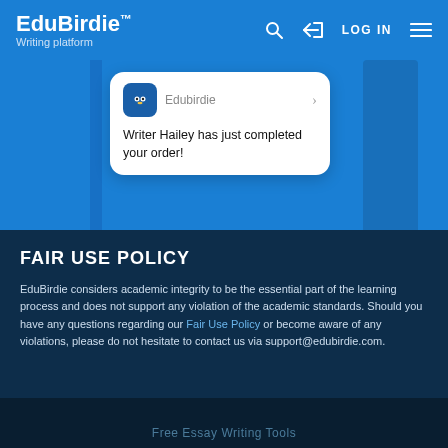EduBirdie™ Writing platform — LOG IN
[Figure (screenshot): Mobile notification card showing 'Edubirdie' app name with owl icon and message: 'Writer Hailey has just completed your order!']
FAIR USE POLICY
EduBirdie considers academic integrity to be the essential part of the learning process and does not support any violation of the academic standards. Should you have any questions regarding our Fair Use Policy or become aware of any violations, please do not hesitate to contact us via support@edubirdie.com.
Free Essay Writing Tools